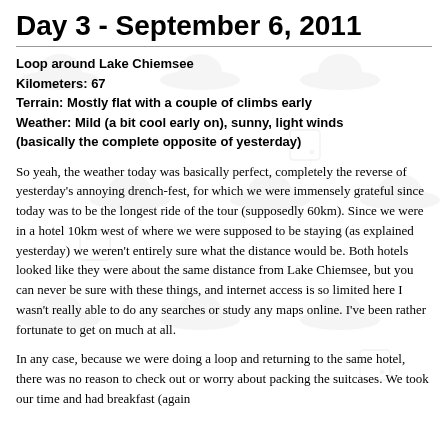Day 3 - September 6, 2011
Loop around Lake Chiemsee
Kilometers: 67
Terrain: Mostly flat with a couple of climbs early
Weather: Mild (a bit cool early on), sunny, light winds (basically the complete opposite of yesterday)
So yeah, the weather today was basically perfect, completely the reverse of yesterday's annoying drench-fest, for which we were immensely grateful since today was to be the longest ride of the tour (supposedly 60km). Since we were in a hotel 10km west of where we were supposed to be staying (as explained yesterday) we weren't entirely sure what the distance would be. Both hotels looked like they were about the same distance from Lake Chiemsee, but you can never be sure with these things, and internet access is so limited here I wasn't really able to do any searches or study any maps online. I've been rather fortunate to get on much at all.
In any case, because we were doing a loop and returning to the same hotel, there was no reason to check out or worry about packing the suitcases. We took our time and had breakfast (again